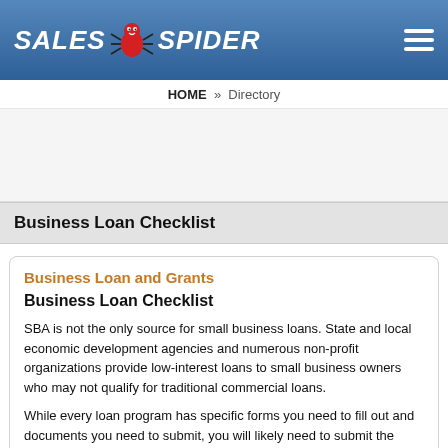SALES SPIDER
HOME » Directory
[Figure (other): Advertisement/empty space]
Business Loan Checklist
Business Loan and Grants
Business Loan Checklist
SBA is not the only source for small business loans. State and local economic development agencies and numerous non-profit organizations provide low-interest loans to small business owners who may not qualify for traditional commercial loans.
While every loan program has specific forms you need to fill out and documents you need to submit, you will likely need to submit the same information for different loan packages.